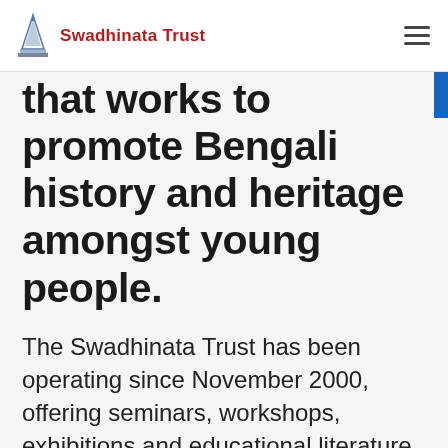Swadhinata Trust
that works to promote Bengali history and heritage amongst young people.
The Swadhinata Trust has been operating since November 2000, offering seminars, workshops, exhibitions and educational literature to young Bengali